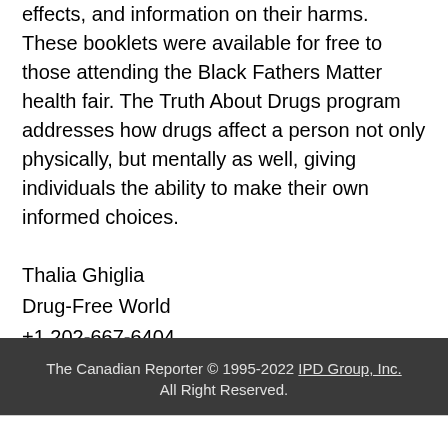effects, and information on their harms. These booklets were available for free to those attending the Black Fathers Matter health fair. The Truth About Drugs program addresses how drugs affect a person not only physically, but mentally as well, giving individuals the ability to make their own informed choices.
Thalia Ghiglia
Drug-Free World
+1 202-667-6404
email us here
The Canadian Reporter © 1995-2022 IPD Group, Inc. All Right Reserved.